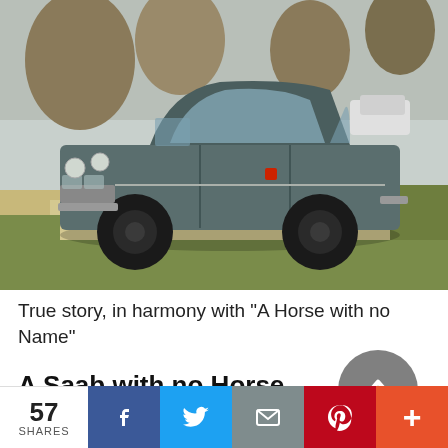[Figure (photo): A vintage gray Saab automobile parked on a residential street/driveway, with trees and grass visible in the background. The car appears to be from the early 1970s, in a steel-blue/gray color with black wheels.]
True story, in harmony with "A Horse with no Name"
A Saab with no Horse
It's December of 1975.  Finals, papers, and Christmas are behind me. A foot of old snow
57 SHARES | Facebook | Twitter | Email | Pinterest | More